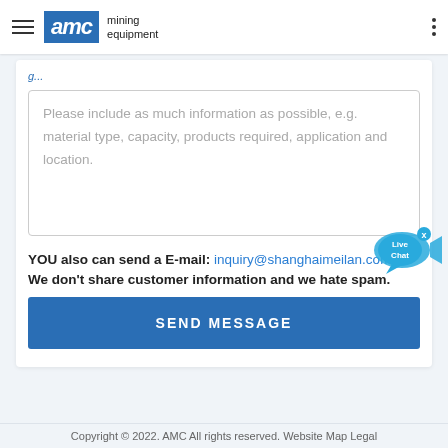AMC mining equipment
Please include as much information as possible, e.g. material type, capacity, products required, application and location.
YOU also can send a E-mail: inquiry@shanghaimeilan.com
We don't share customer information and we hate spam.
SEND MESSAGE
[Figure (illustration): Live Chat speech bubble with fish icon]
Copyright © 2022. AMC All rights reserved. Website Map Legal